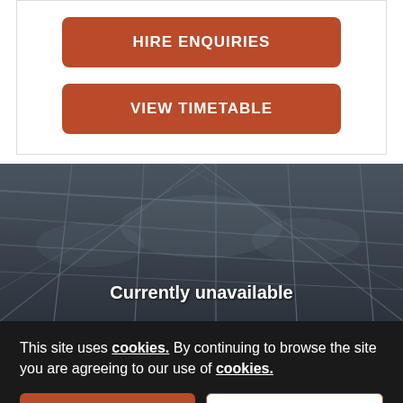[Figure (screenshot): Orange rounded button labeled HIRE ENQUIRIES]
[Figure (screenshot): Orange rounded button labeled VIEW TIMETABLE]
[Figure (photo): Indoor venue ceiling photo with text overlay 'Currently unavailable']
This site uses cookies. By continuing to browse the site you are agreeing to our use of cookies.
Agree and close
Reject all cookies
Cookie Settings